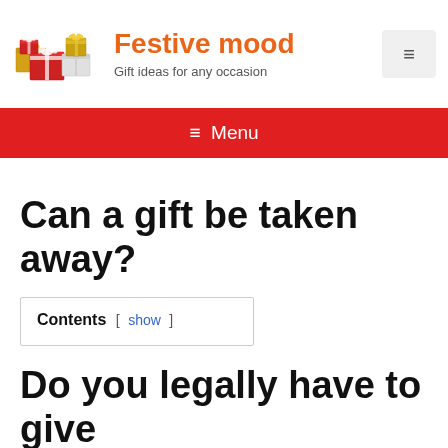Festive mood — Gift ideas for any occasion
≡ Menu
Can a gift be taken away?
Contents [ show ]
Do you legally have to give